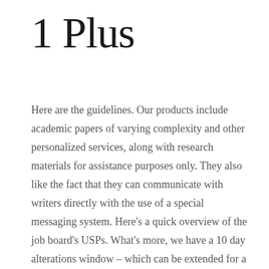1 Plus
Here are the guidelines. Our products include academic papers of varying complexity and other personalized services, along with research materials for assistance purposes only. They also like the fact that they can communicate with writers directly with the use of a special messaging system. Here’s a quick overview of the job board’s USPs. What’s more, we have a 10 day alterations window – which can be extended for a fee – so you can request as many changes as you need. It should inform the reader instantly what it is they will learn about in the text. You may also verify a company’s reputation by visiting their website. He clearly understood the requirements and guidelines. Each of our writers is a pro who can